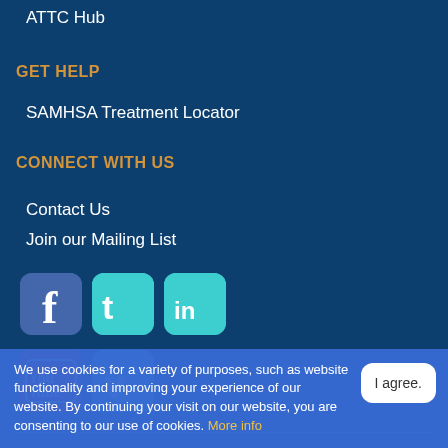ATTC Hub
GET HELP
SAMHSA Treatment Locator
CONNECT WITH US
Contact Us
Join our Mailing List
[Figure (other): Social media icons: Facebook, Twitter, LinkedIn, YouTube, Vimeo]
[Figure (logo): SAMHSA - Substance Abuse and Mental Health Services Administration logo]
We use cookies for a variety of purposes, such as website functionality and improving your experience of our website. By continuing your visit on our website, you are consenting to our use of cookies. More info
I agree.